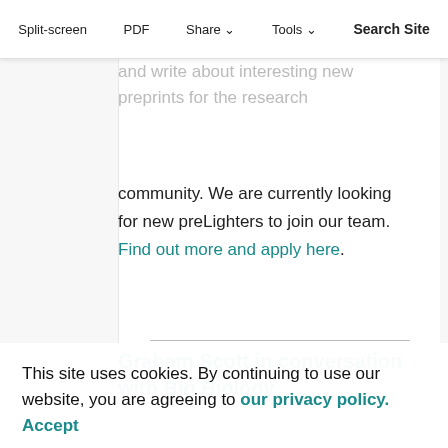Split-screen  PDF  Share  Tools  Search Site
of preLights are our preLighters: early-career researchers who select and write about interesting new preprints for the research community. We are currently looking for new preLighters to join our team. Find out more and apply here.
Graham Scott in conversation with Big Biology
[Figure (photo): Partial view of a blue and white animal or insect, possibly a butterfly or similar creature, shown from above against a light blue background.]
This site uses cookies. By continuing to use our website, you are agreeing to our privacy policy. Accept